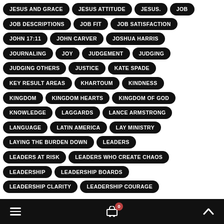JESUS AND GRACE
JESUS ATTITUDE
JESUS.
JOB
JOB DESCRIPTIONS
JOB FIT
JOB SATISFACTION
JOHN 17:11
JOHN CARVER
JOSHUA HARRIS
JOURNALING
JOY
JUDGEMENT
JUDGING
JUDGING OTHERS
JUSTICE
KATE SPADE
KEY RESULT AREAS
KHARTOUM
KINDNESS
KINGDOM
KINGDOM HEARTS
KINGDOM OF GOD
KNOWLEDGE
LAGGARDS
LANCE ARMSTRONG
LANGUAGE
LATIN AMERICA
LAY MINISTRY
LAYING THE BURDEN DOWN
LEADERS
LEADERS AT RISK
LEADERS WHO CREATE CHAOS
LEADERSHIP
LEADERSHIP BOARDS
LEADERSHIP CLARITY
LEADERSHIP COURAGE
☰  🛒 0  ∧